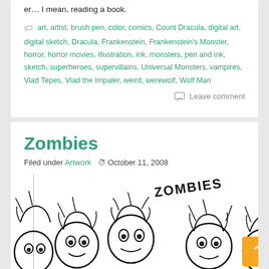er... I mean, reading a book.
art, artist, brush pen, color, comics, Count Dracula, digital art, digital sketch, Dracula, Frankenstein, Frankenstein's Monster, horror, horror movies, illustration, ink, monsters, pen and ink, sketch, superheroes, supervillains, Universal Monsters, vampires, Vlad Tepes, Vlad the Impaler, weird, werewolf, Wolf Man
Leave comment
Zombies
Filed under Artwork   October 11, 2008
[Figure (illustration): Black ink sketch illustration of zombie heads crowded together with 'ZOMBIES' graffiti-style text above them]